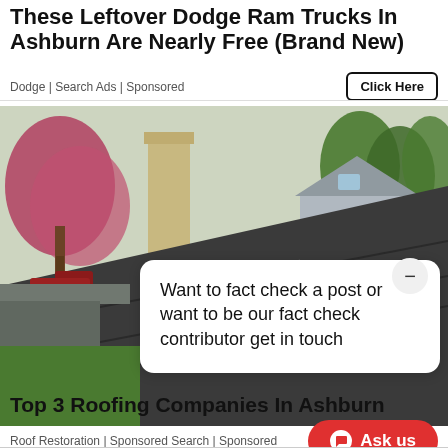These Leftover Dodge Ram Trucks In Ashburn Are Nearly Free (Brand New)
Dodge | Search Ads | Sponsored
[Figure (photo): Photo of a damaged residential roof with shingles peeling and curling, suburban neighborhood visible in background with a chimney and pink-flowering tree]
Want to fact check a post or want to be our fact check contributor get in touch
Top 3 Roofing Companies In Ashburn
Roof Restoration | Sponsored Search | Sponsored